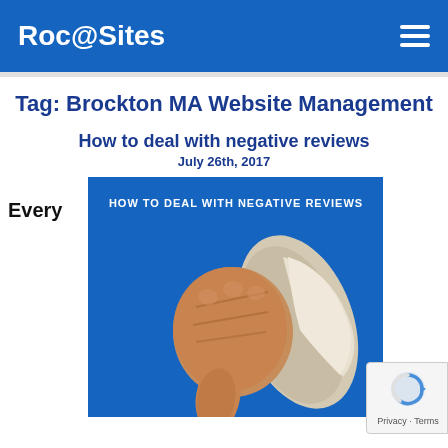Roc@Sites
Tag: Brockton MA Website Management
How to deal with negative reviews
July 26th, 2017
Every
[Figure (illustration): Blue background image with text 'HOW TO DEAL WITH NEGATIVE REVIEWS' at top and a hand giving a thumbs down gesture wearing a white sleeve]
Privacy · Terms